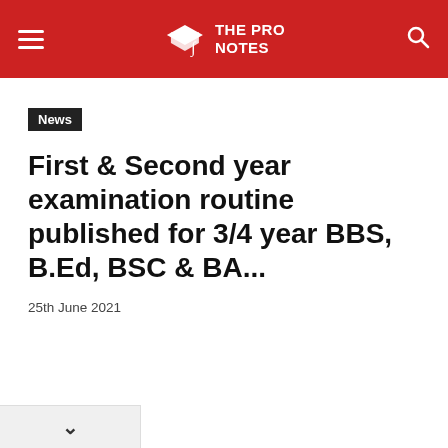THE PRO NOTES
News
First & Second year examination routine published for 3/4 year BBS, B.Ed, BSC & BA...
25th June 2021